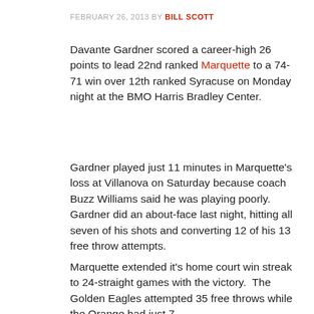FEBRUARY 26, 2013 BY BILL SCOTT
Davante Gardner scored a career-high 26 points to lead 22nd ranked Marquette to a 74-71 win over 12th ranked Syracuse on Monday night at the BMO Harris Bradley Center.
Gardner played just 11 minutes in Marquette's loss at Villanova on Saturday because coach Buzz Williams said he was playing poorly.  Gardner did an about-face last night, hitting all seven of his shots and converting 12 of his 13 free throw attempts.
Marquette extended it's home court win streak to 24-straight games with the victory.  The Golden Eagles attempted 35 free throws while the Orange had just 7.
AUDIO: Buzz Williams on 24-game home court win streak :16